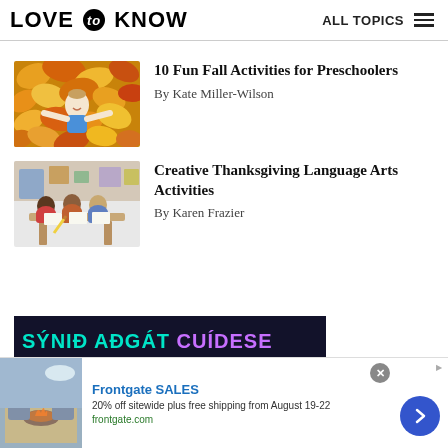LOVE to KNOW  ALL TOPICS
[Figure (photo): Child lying in autumn leaves with arms spread, wearing blue vest]
10 Fun Fall Activities for Preschoolers
By Kate Miller-Wilson
[Figure (photo): Children sitting around a table in a classroom, writing or drawing]
Creative Thanksgiving Language Arts Activities
By Karen Frazier
[Figure (other): Advertisement banner: SÝNIÐ AÐGÁT CUÍDESE in teal and purple text on dark background]
[Figure (other): Bottom advertisement: Frontgate SALES - 20% off sitewide plus free shipping from August 19-22. frontgate.com. Shows outdoor furniture with fire pit.]